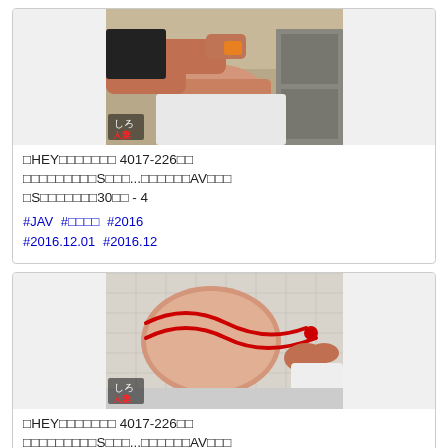[Figure (photo): Thumbnail image for video card 1 - kitchen scene with watermark badge showing 'しろ' in white and red text]
□HEY□□□□□□□ 4017-226□□ □□□□□□□□□S□□□...□□□□□□AV□□□ □S□□□□□□□30□□ - 4
#JAV #□□□□ #2016 #2016.12.01 #2016.12
[Figure (photo): Thumbnail image for video card 2 - bathroom scene with red rope, watermark badge showing 'しろ' in white and red text]
□HEY□□□□□□□ 4017-226□□ □□□□□□□□□S□□□...□□□□□□AV□□□ □S□□□□□□□30□□ - 6
#JAV #□□□□ #2016.12.01